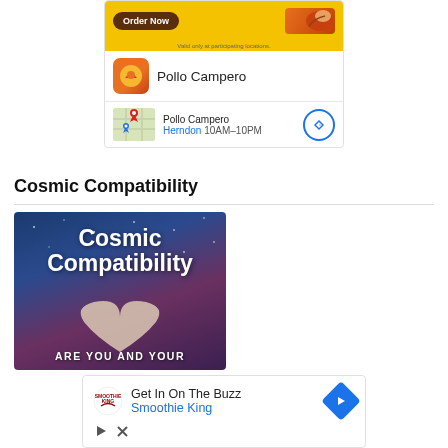[Figure (screenshot): Pollo Campero ad banner with Order Now button, yellow background, food image, logo, and map location showing Herndon 10AM-10PM]
Cosmic Compatibility
[Figure (photo): Cosmic Compatibility article image showing hands forming heart shape with text 'Cosmic Compatibility' and 'ARE YOU AND YOUR']
[Figure (screenshot): Smoothie King ad: Get In On The Buzz, Smoothie King with navigation arrow and ad icons]